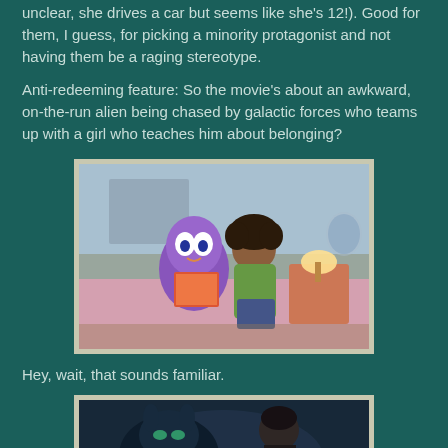unclear, she drives a car but seems like she's 12!). Good for them, I guess, for picking a minority protagonist and not having them be a raging stereotype.
Anti-redeeming feature: So the movie's about an awkward, on-the-run alien being chased by galactic forces who teams up with a girl who teaches him about belonging?
[Figure (photo): Animated movie still from 'Home' showing a purple alien character (Oh) and a girl with curly hair (Tip) sitting on a bed reading a book together in a bedroom scene]
Hey, wait, that sounds familiar.
[Figure (photo): Animated movie still showing two characters in a dark nighttime scene, appearing to be from Lilo & Stitch]